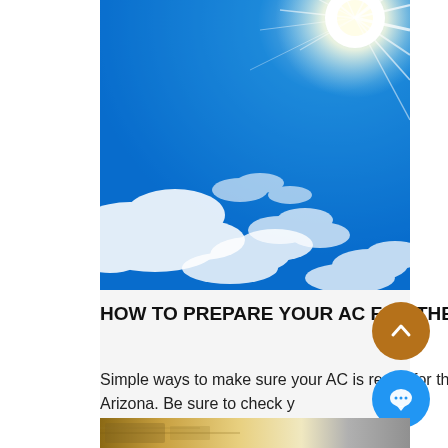[Figure (photo): Bright sunny blue sky with white clouds and a radiant sunburst in the upper right corner]
HOW TO PREPARE YOUR AC FOR THE SUMMER MONTHS
Simple ways to make sure your AC is ready for the hot summer months to come in Arizona. Be sure to check y
[Figure (photo): Partial view of an HVAC or air conditioning unit at the bottom of the page]